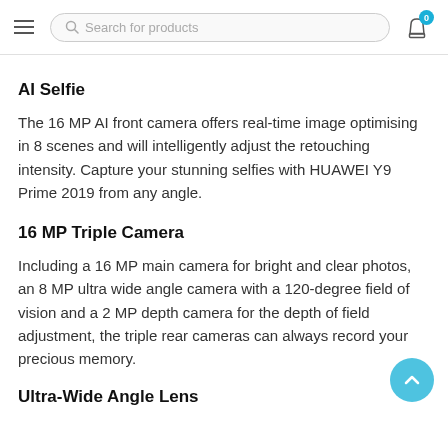Search for products
AI Selfie
The 16 MP AI front camera offers real-time image optimising in 8 scenes and will intelligently adjust the retouching intensity. Capture your stunning selfies with HUAWEI Y9 Prime 2019 from any angle.
16 MP Triple Camera
Including a 16 MP main camera for bright and clear photos, an 8 MP ultra wide angle camera with a 120-degree field of vision and a 2 MP depth camera for the depth of field adjustment, the triple rear cameras can always record your precious memory.
Ultra-Wide Angle Lens